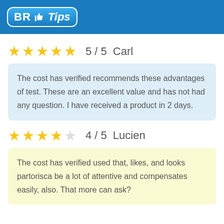BR Tips
5 / 5   Carl
The cost has verified recommends these advantages of test. These are an excellent value and has not had any question. I have received a product in 2 days.
4 / 5   Lucien
The cost has verified used that, likes, and looks partorisca be a lot of attentive and compensates easily, also. That more can ask?